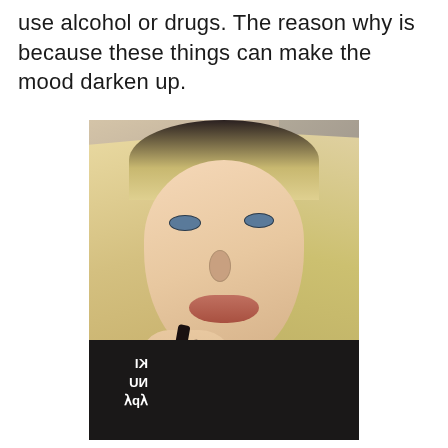use alcohol or drugs. The reason why is because these things can make the mood darken up.
[Figure (photo): A young woman with long blonde wavy hair, blue eyes, and full lips, posing for a selfie with her hand raised near her chin. She has dark nail polish and is wearing a black top with text on it. The background shows a bedroom.]